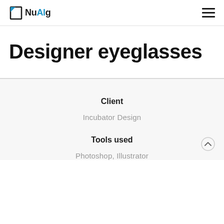NuAlg
Designer eyeglasses
Client
Incubator Design
Tools used
Photoshop, Illustrator